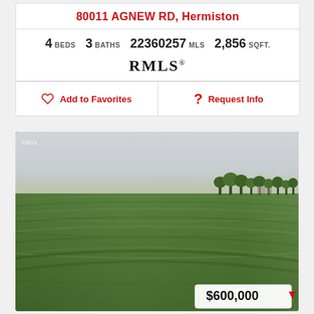80011 AGNEW RD, Hermiston
4 BEDS   3 BATHS   22360257 MLS   2,856 SQFT.
[Figure (logo): RMLS logo]
Add to Favorites   Request Info
[Figure (photo): Aerial drone photo of a large green agricultural field with crop rows curving across flat terrain, trees visible on the right, overcast sky. Copyright 2021 watermark in top left. Price badge showing $600,000 with red down arrow in bottom right.]